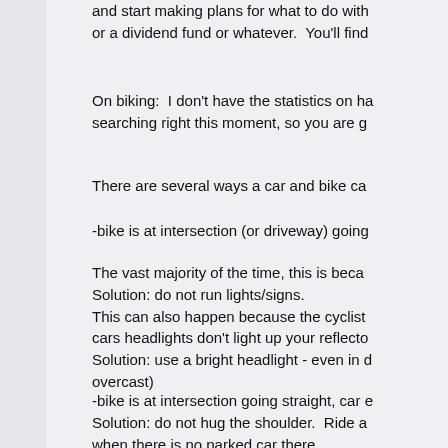and start making plans for what to do with or a dividend fund or whatever.  You'll find
On biking:  I don't have the statistics on ha searching right this moment, so you are g
There are several ways a car and bike ca
-bike is at intersection (or driveway) going
The vast majority of the time, this is beca Solution: do not run lights/signs. This can also happen because the cyclist cars headlights don't light up your reflecto Solution: use a bright headlight - even in d overcast)
-bike is at intersection going straight, car e Solution: do not hug the shoulder.  Ride a when there is no parked car there.
-bike is at intersection going straight, onco Solution: combination of the two above, u ride out in the lane where you are more vi at all times.